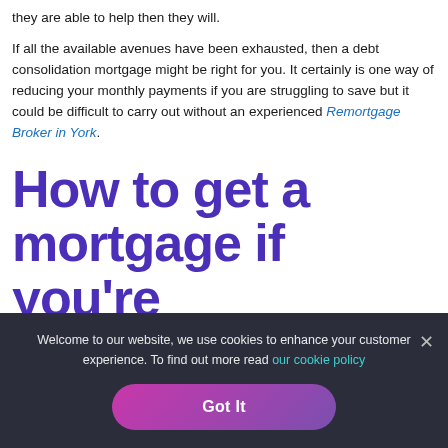they are able to help then they will.
If all the available avenues have been exhausted, then a debt consolidation mortgage might be right for you. It certainly is one way of reducing your monthly payments if you are struggling to save but it could be difficult to carry out without an experienced Remortgage Broker in York.
How to get a mortgage if you're over 40 in York
Welcome to our website, we use cookies to enhance your customer experience. To find out more read our cookie policy